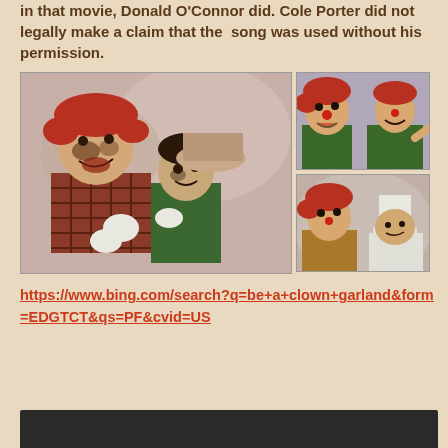in that movie, Donald O'Connor did. Cole Porter did not legally make a claim that the song was used without his permission.
[Figure (photo): Three film stills showing clown performers with a child. Left: large image of a clown in plaid jacket with red hair hugging a young child, both laughing. Top right: two clown figures in green jackets. Bottom right: clown with red hair next to a child in a white hat.]
https://www.bing.com/search?q=be+a+clown+garland&form=EDGTCT&qs=PF&cvid=US